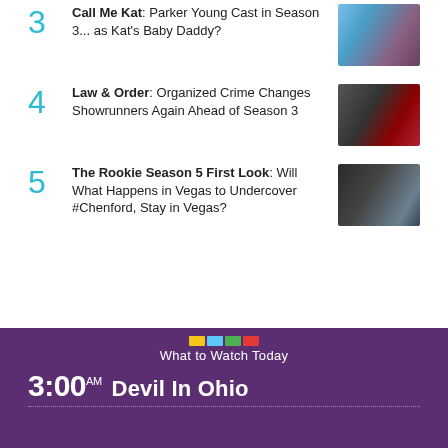3 Call Me Kat: Parker Young Cast in Season 3... as Kat's Baby Daddy?
4 Law & Order: Organized Crime Changes Showrunners Again Ahead of Season 3
5 The Rookie Season 5 First Look: Will What Happens in Vegas to Undercover #Chenford, Stay in Vegas?
What to Watch Today
3:00 AM  Devil In Ohio